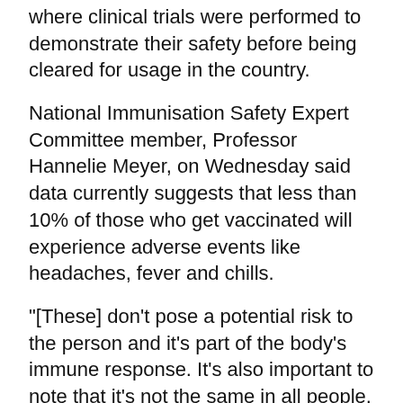where clinical trials were performed to demonstrate their safety before being cleared for usage in the country.
National Immunisation Safety Expert Committee member, Professor Hannelie Meyer, on Wednesday said data currently suggests that less than 10% of those who get vaccinated will experience adverse events like headaches, fever and chills.
"[These] don’t pose a potential risk to the person and it’s part of the body’s immune response. It’s also important to note that it’s not the same in all people. These events are mild. They happen within the first couple of hours … and they hardly ever need any management," Meyer said.
She said although certain adverse events are more common, if these symptoms exceed a certain period of time, medical help should be sought.
"You should not assume that all reactions are linked to the vaccine. We are now vaccinating millions of people and